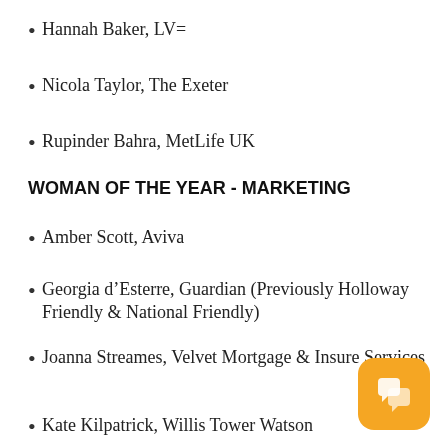Hannah Baker, LV=
Nicola Taylor, The Exeter
Rupinder Bahra, MetLife UK
WOMAN OF THE YEAR - MARKETING
Amber Scott, Aviva
Georgia d’Esterre, Guardian (Previously Holloway Friendly & National Friendly)
Joanna Streames, Velvet Mortgage & Insure Services
Kate Kilpatrick, Willis Tower Watson